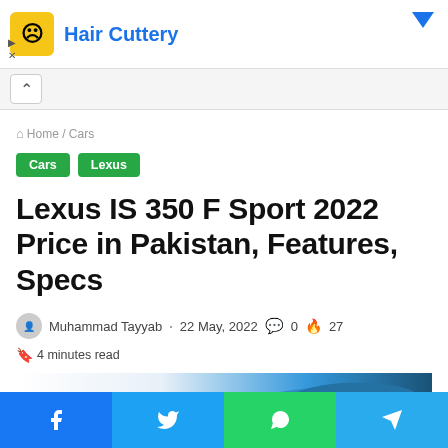[Figure (screenshot): Advertisement banner for Hair Cuttery with yellow logo, blue text, and dropdown arrow]
Home / Cars
Cars  Lexus
Lexus IS 350 F Sport 2022 Price in Pakistan, Features, Specs
Muhammad Tayyab · 22 May, 2022  0  27
4 minutes read
[Figure (photo): Partial blue car image at the bottom of the content area]
[Figure (screenshot): Social share bar with Facebook, Twitter, WhatsApp, Telegram buttons]